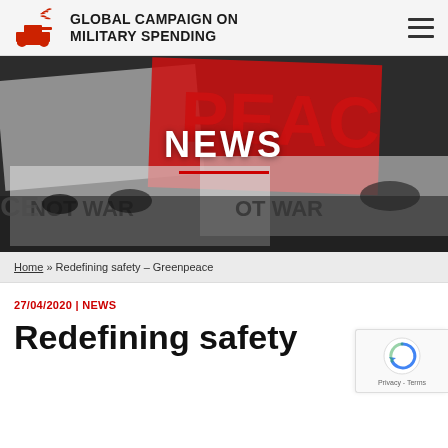GLOBAL CAMPAIGN ON MILITARY SPENDING
[Figure (photo): Protest scene with people holding signs reading PEACE and NOT WAR, with NEWS heading overlay and red underline]
Home » Redefining safety – Greenpeace
27/04/2020 | NEWS
Redefining safety